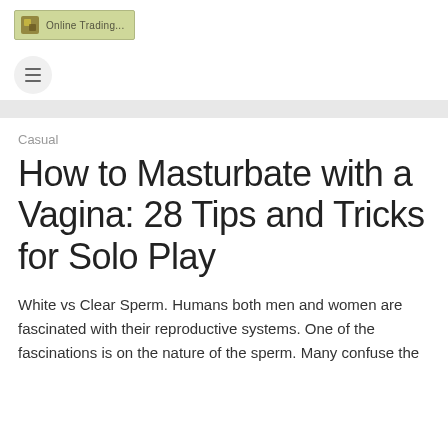[Figure (logo): Online Trading logo with olive/yellow-green background, small square icon on left and 'Online Trading...' text]
[Figure (other): Circular menu/hamburger button with three horizontal lines on light gray circle]
Casual
How to Masturbate with a Vagina: 28 Tips and Tricks for Solo Play
White vs Clear Sperm. Humans both men and women are fascinated with their reproductive systems. One of the fascinations is on the nature of the sperm. Many confuse the